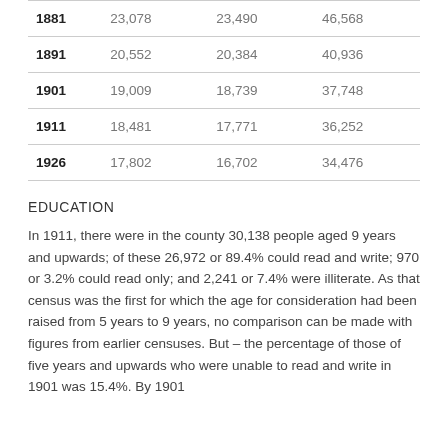| Year | Column1 | Column2 | Total |
| --- | --- | --- | --- |
| 1881 | 23,078 | 23,490 | 46,568 |
| 1891 | 20,552 | 20,384 | 40,936 |
| 1901 | 19,009 | 18,739 | 37,748 |
| 1911 | 18,481 | 17,771 | 36,252 |
| 1926 | 17,802 | 16,702 | 34,476 |
EDUCATION
In 1911, there were in the county 30,138 people aged 9 years and upwards; of these 26,972 or 89.4% could read and write; 970 or 3.2% could read only; and 2,241 or 7.4% were illiterate. As that census was the first for which the age for consideration had been raised from 5 years to 9 years, no comparison can be made with figures from earlier censuses. But – the percentage of those of five years and upwards who were unable to read and write in 1901 was 15.4%. By 1901